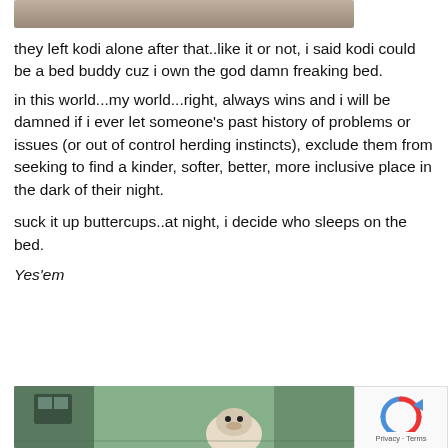[Figure (photo): Partial photo visible at top of page, cropped]
they left kodi alone after that..like it or not, i said kodi could be a bed buddy cuz i own the god damn freaking bed.
in this world...my world...right, always wins and i will be damned if i ever let someone's past history of problems or issues (or out of control herding instincts), exclude them from seeking to find a kinder, softer, better, more inclusive place in the dark of their night.
suck it up buttercups..at night, i decide who sleeps on the bed.
Yes'em
[Figure (photo): Photo of a dog peeking through a window, with trees visible outside]